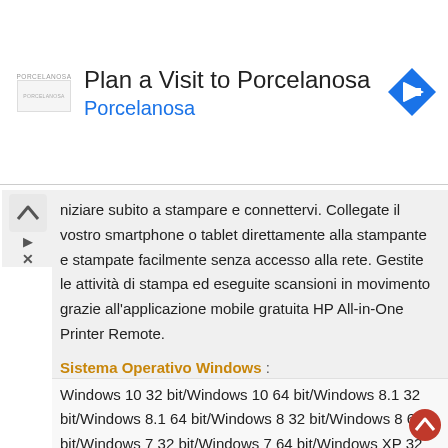[Figure (screenshot): Advertisement banner for Porcelanosa with logo, title 'Plan a Visit to Porcelanosa', subtitle 'Porcelanosa' in blue, and a blue navigation direction icon on the right]
niziare subito a stampare e connettervi. Collegate il vostro smartphone o tablet direttamente alla stampante e stampate facilmente senza accesso alla rete. Gestite le attività di stampa ed eseguite scansioni in movimento grazie all'applicazione mobile gratuita HP All-in-One Printer Remote.
Sistema Operativo Windows :
Windows 10 32 bit/Windows 10 64 bit/Windows 8.1 32 bit/Windows 8.1 64 bit/Windows 8 32 bit/Windows 8 64 bit/Windows 7 32 bit/Windows 7 64 bit/Windows XP 32 bit/Windows XP 64 bit
Sistema Operativo Mac OS :